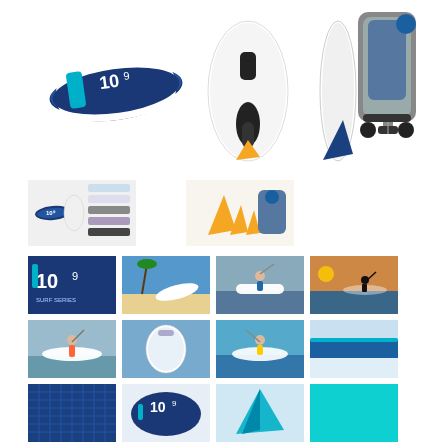[Figure (photo): Main product photo showing inflatable SUP (stand-up paddleboard) with text '10'9', shown from side (blue/white design), bottom, with fin, pump, and rolling bag carry case]
[Figure (photo): Thumbnail showing board with accessories kit laid out flat]
[Figure (photo): Thumbnail showing fins and backpack accessories]
[Figure (photo): Grid photo: board logo closeup showing 10'9]
[Figure (photo): Grid photo: board on beach with palm trees]
[Figure (photo): Grid photo: person paddleboarding on water]
[Figure (photo): Grid photo: person paddleboarding at sunset]
[Figure (photo): Grid photo: person standing on paddleboard on calm water]
[Figure (photo): Grid photo: board floating on water]
[Figure (photo): Grid photo: person paddleboarding with motion]
[Figure (photo): Grid photo: board nose/tail closeup detail blue stripe]
[Figure (photo): Grid photo: board side rail closeup]
[Figure (photo): Grid photo: board nose closeup with stripe]
[Figure (photo): Grid photo: D-ring/valve handle closeup]
[Figure (photo): Grid photo: board tail/fin area closeup]
[Figure (photo): Grid photo: deck texture grip pad closeup]
[Figure (photo): Grid photo: board top with logo '10'9']
[Figure (photo): Grid photo: fin closeup from below]
[Figure (photo): Grid photo: teal/turquoise color of board surface]